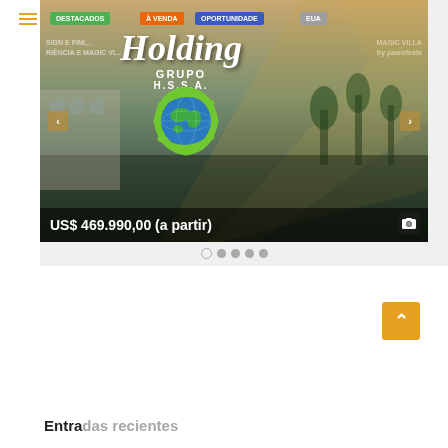[Figure (screenshot): Website screenshot showing a real estate portal (Holding Grupo H.S.S.A.) with navigation bar, image carousel displaying a property listing with price 'US$ 469.990,00 (a partir)', carousel navigation dots, a search bar with placeholder 'Buscar', a back-to-top button, and partial section heading 'Entradas recientes']
DESTACADOS
À VENDA
OPORTUNIDADE
EUA
US$ 469.990,00 (a partir)
Buscar
Entradas recientes